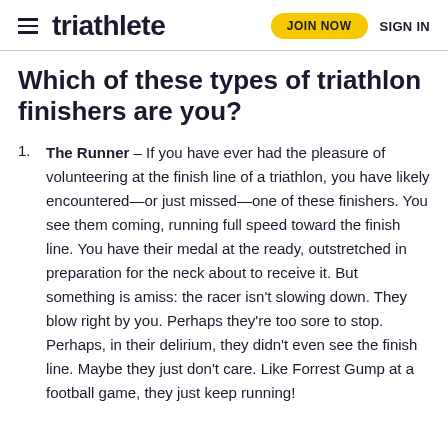triathlete   JOIN NOW   SIGN IN
Which of these types of triathlon finishers are you?
The Runner – If you have ever had the pleasure of volunteering at the finish line of a triathlon, you have likely encountered—or just missed—one of these finishers. You see them coming, running full speed toward the finish line. You have their medal at the ready, outstretched in preparation for the neck about to receive it. But something is amiss: the racer isn't slowing down. They blow right by you. Perhaps they're too sore to stop. Perhaps, in their delirium, they didn't even see the finish line. Maybe they just don't care. Like Forrest Gump at a football game, they just keep running!